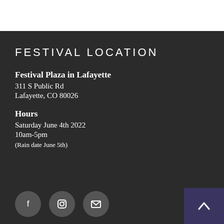FESTIVAL LOCATION
Festival Plaza in Lafayette
311 S Public Rd
Lafayette, CO 80026
Hours
Saturday June 4th 2022
10am-5pm
(Rain date June 5th)
[Figure (infographic): Footer with three social media icon circles (Facebook, Instagram, Email) and a back-to-top button (chevron up arrow on dark purple background)]